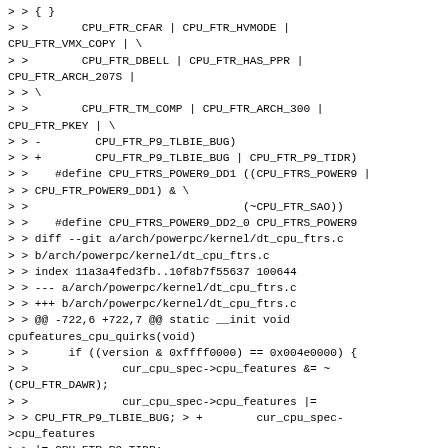> > { }
> >        CPU_FTR_CFAR | CPU_FTR_HVMODE | CPU_FTR_VMX_COPY | \
> >        CPU_FTR_DBELL | CPU_FTR_HAS_PPR | CPU_FTR_ARCH_207S |
> > \
> >        CPU_FTR_TM_COMP | CPU_FTR_ARCH_300 | CPU_FTR_PKEY | \
> > -        CPU_FTR_P9_TLBIE_BUG)
> > +        CPU_FTR_P9_TLBIE_BUG | CPU_FTR_P9_TIDR)
> >    #define CPU_FTRS_POWER9_DD1 ((CPU_FTRS_POWER9 |
> > CPU_FTR_POWER9_DD1) & \
> >                                (~CPU_FTR_SAO))
> >    #define CPU_FTRS_POWER9_DD2_0 CPU_FTRS_POWER9
> > diff --git a/arch/powerpc/kernel/dt_cpu_ftrs.c
> > b/arch/powerpc/kernel/dt_cpu_ftrs.c
> > index 11a3a4fed3fb..10f8b7f55637 100644
> > --- a/arch/powerpc/kernel/dt_cpu_ftrs.c
> > +++ b/arch/powerpc/kernel/dt_cpu_ftrs.c
> > @@ -722,6 +722,7 @@ static __init void cpufeatures_cpu_quirks(void)
> >      if ((version & 0xffff0000) == 0x004e0000) {
> >              cur_cpu_spec->cpu_features &= ~(CPU_FTR_DAWR);
> >              cur_cpu_spec->cpu_features |=
> > CPU_FTR_P9_TLBIE_BUG; > +        cur_cpu_spec->cpu_features
> > |= CPU_FTR_P9_TIDR;
>
>